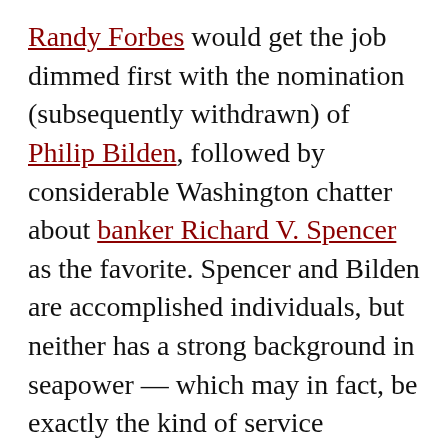Randy Forbes would get the job dimmed first with the nomination (subsequently withdrawn) of Philip Bilden, followed by considerable Washington chatter about banker Richard V. Spencer as the favorite. Spencer and Bilden are accomplished individuals, but neither has a strong background in seapower — which may in fact, be exactly the kind of service secretary that Mattis wants as a means of diminishing the services as independent power bases. Meanwhile, because neither the president nor the secretary of defense has the time to relentlessly advocate for the resources